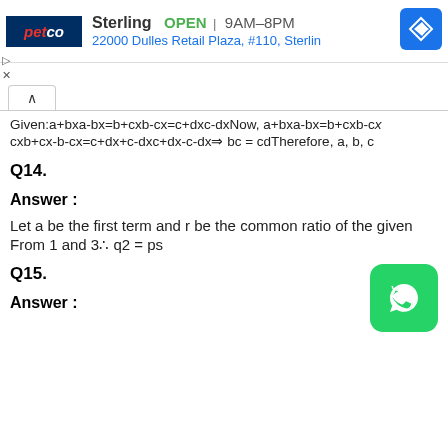[Figure (other): Petco ad banner: Sterling OPEN 9AM-8PM, 22000 Dulles Retail Plaza, #110, Sterlin, with navigation icon]
Given:a+bxa-bx=b+cxb-cx=c+dxc-dxNow, a+bxa-bx=b+cxb-cx
cxb+cx-b-cx=c+dx+c-dxc+dx-c-dx⇒ bc = cdTherefore, a, b, c
Q14.
Answer :
Let a be the first term and r be the common ratio of the given
From 1 and 3∴ q2 = ps
Q15.
Answer :
[Figure (logo): WhatsApp green button icon]